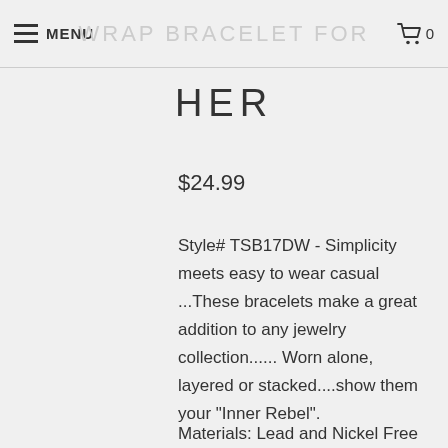MENU  WRAP BRACELET FOR HER  0
HER
$24.99
Style# TSB17DW - Simplicity meets easy to wear casual ...These bracelets make a great addition to any jewelry collection...... Worn alone, layered or stacked....show them your "Inner Rebel".
Materials: Lead and Nickel Free - Aged Silver Toned Alloy Metal Components, Fine Grade 5mm Braided and 3mm Round Imported Leather Cords.
Each piece comes with a brand hang tag